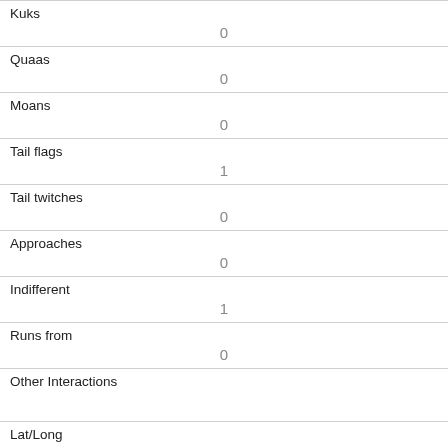| Kuks | 0 |
| Quaas | 0 |
| Moans | 0 |
| Tail flags | 1 |
| Tail twitches | 0 |
| Approaches | 0 |
| Indifferent | 1 |
| Runs from | 0 |
| Other Interactions |  |
| Lat/Long | POINT (-73.9758464905133 40.7725957408841) |